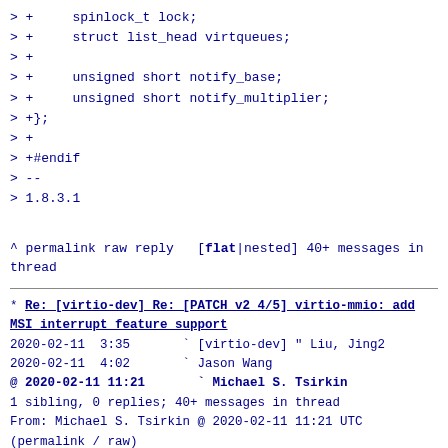> +	spinlock_t lock;
> +	struct list_head virtqueues;
> +
> +	unsigned short notify_base;
> +	unsigned short notify_multiplier;
> +};
> +
> +#endif
> --
> 1.8.3.1
^ permalink raw reply	[flat|nested] 40+ messages in thread
* Re: [virtio-dev] Re: [PATCH v2 4/5] virtio-mmio: add MSI interrupt feature support
  2020-02-11  3:35	` [virtio-dev] " Liu, Jing2
  2020-02-11  4:02	` Jason Wang
@ 2020-02-11 11:21	` Michael S. Tsirkin
  1 sibling, 0 replies; 40+ messages in thread
From: Michael S. Tsirkin @ 2020-02-11 11:21 UTC
(permalink / raw)
  To: Liu, Jing2
  Cc: Jason Wang, Zha Bin, linux-kernel, virtio-dev, slp, qemu-devel,
	chao.p.peng, gerry

On Tue, Feb 11, 2020 at 11:35:43AM +0800, Liu, Jing2